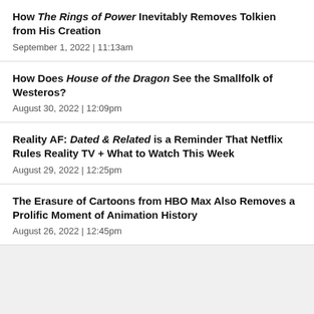How The Rings of Power Inevitably Removes Tolkien from His Creation
September 1, 2022  |  11:13am
How Does House of the Dragon See the Smallfolk of Westeros?
August 30, 2022  |  12:09pm
Reality AF: Dated & Related is a Reminder That Netflix Rules Reality TV + What to Watch This Week
August 29, 2022  |  12:25pm
The Erasure of Cartoons from HBO Max Also Removes a Prolific Moment of Animation History
August 26, 2022  |  12:45pm